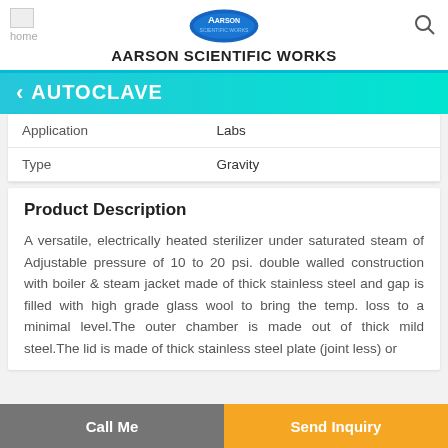AARSON SCIENTIFIC WORKS
AUTOCLAVE
| Property | Value |
| --- | --- |
| Application | Labs |
| Type | Gravity |
Product Description
A versatile, electrically heated sterilizer under saturated steam of Adjustable pressure of 10 to 20 psi. double walled construction with boiler & steam jacket made of thick stainless steel and gap is filled with high grade glass wool to bring the temp. loss to a minimal level.The outer chamber is made out of thick mild steel.The lid is made of thick stainless steel plate (joint less) or
Call Me | Send Inquiry